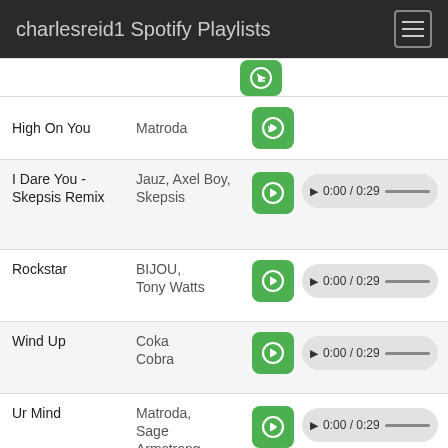charlesreid1 Spotify Playlists
| Track | Artist | Link | Player |
| --- | --- | --- | --- |
| High On You | Matroda | [spotify] |  |
| I Dare You - Skepsis Remix | Jauz, Axel Boy, Skepsis | [spotify] | ▶ 0:00 / 0:29 |
| Rockstar | BIJOU, Tony Watts | [spotify] | ▶ 0:00 / 0:29 |
| Wind Up | Coka Cobra | [spotify] | ▶ 0:00 / 0:29 |
| Ur Mind | Matroda, Sage Armstrong, Rhiannon Roze | [spotify] | ▶ 0:00 / 0:29 |
| Killin' Me | Slayerdale | [spotify] |  |